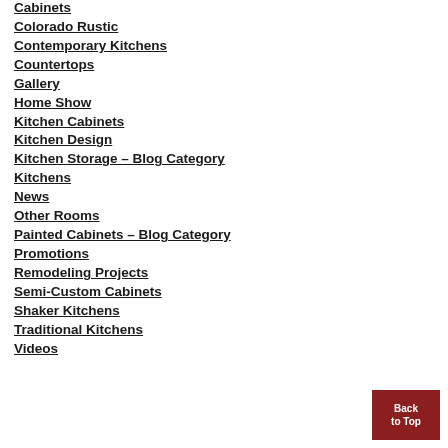Cabinets
Colorado Rustic
Contemporary Kitchens
Countertops
Gallery
Home Show
Kitchen Cabinets
Kitchen Design
Kitchen Storage – Blog Category
Kitchens
News
Other Rooms
Painted Cabinets – Blog Category
Promotions
Remodeling Projects
Semi-Custom Cabinets
Shaker Kitchens
Traditional Kitchens
Videos
Back to Top